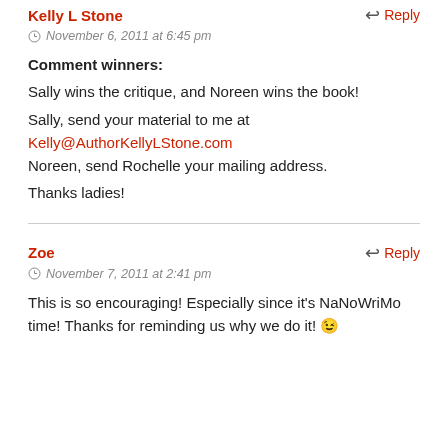Kelly L Stone — Reply
November 6, 2011 at 6:45 pm
Comment winners:

Sally wins the critique, and Noreen wins the book!

Sally, send your material to me at Kelly@AuthorKellyLStone.com
Noreen, send Rochelle your mailing address.

Thanks ladies!
Zoe — Reply
November 7, 2011 at 2:41 pm
This is so encouraging! Especially since it's NaNoWriMo time! Thanks for reminding us why we do it! 😉